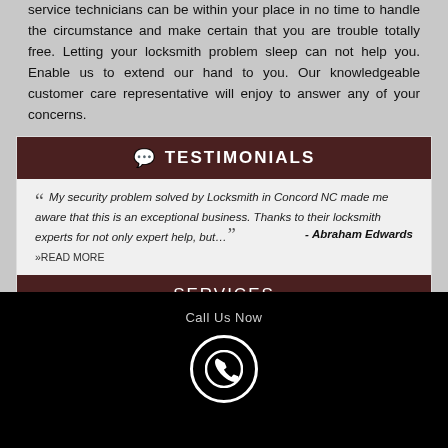service technicians can be within your place in no time to handle the circumstance and make certain that you are trouble totally free. Letting your locksmith problem sleep can not help you. Enable us to extend our hand to you. Our knowledgeable customer care representative will enjoy to answer any of your concerns.
TESTIMONIALS
My security problem solved by Locksmith in Concord NC made me aware that this is an exceptional business. Thanks to their locksmith experts for not only expert help, but… - Abraham Edwards
»READ MORE
SERVICES
Call Us Now
[Figure (illustration): White phone handset icon inside a white circle border on black background]